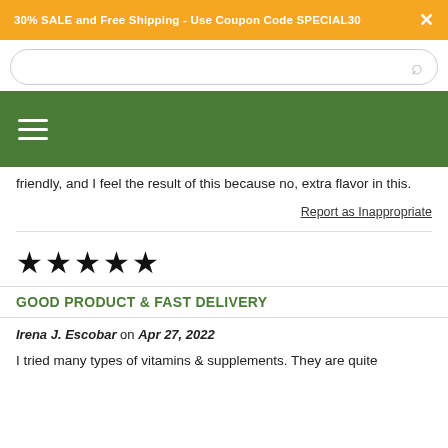30% SALE and Free Shipping - Use Coupon Code SPECIAL30
[Figure (screenshot): Search bar with rounded rectangle border and magnifying glass icon on the right]
[Figure (screenshot): Green navigation bar with hamburger menu icon (three white lines)]
friendly, and I feel the result of this because no, extra flavor in this.
Report as Inappropriate
[Figure (other): Five black filled star rating icons]
GOOD PRODUCT & FAST DELIVERY
Irena J. Escobar on Apr 27, 2022
I tried many types of vitamins & supplements. They are quite